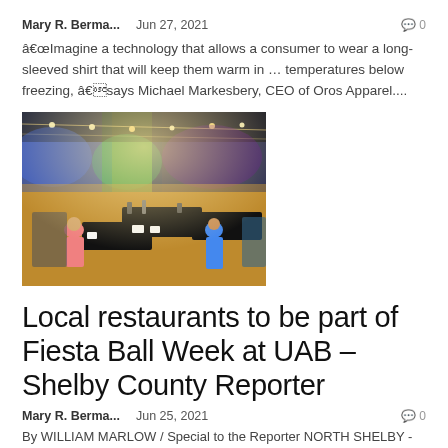Mary R. Berma...   Jun 27, 2021   💬 0
â€œImagine a technology that allows a consumer to wear a long-sleeved shirt that will keep them warm in … temperatures below freezing, â€says Michael Markesbery, CEO of Oros Apparel....
[Figure (photo): Indoor event venue photo showing attendees at tables with colorful string lights and colored stage lighting in background]
Local restaurants to be part of Fiesta Ball Week at UAB – Shelby County Reporter
Mary R. Berma...   Jun 25, 2021   💬 0
By WILLIAM MARLOW / Special to the Reporter NORTH SHELBY -